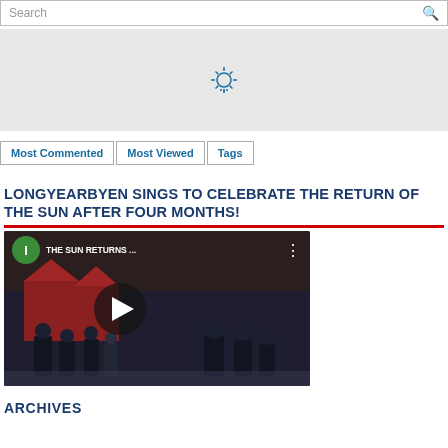Search
[Figure (other): Loading/advertisement placeholder block with spinner icon]
Most Commented | Most Viewed | Tags
LONGYEARBYEN SINGS TO CELEBRATE THE RETURN OF THE SUN AFTER FOUR MONTHS!
[Figure (screenshot): YouTube video thumbnail showing 'THE SUN RETURNS ...' with play button and people in winter scene]
ARCHIVES